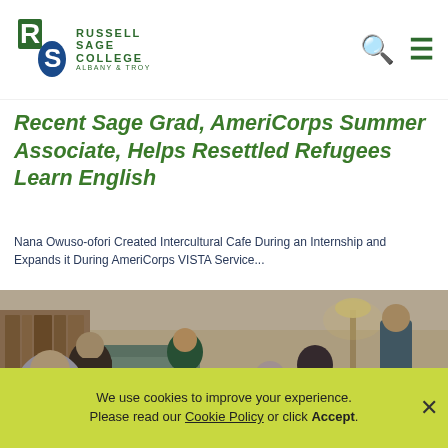Russell Sage College Albany & Troy — navigation header with search and menu icons
Recent Sage Grad, AmeriCorps Summer Associate, Helps Resettled Refugees Learn English
Nana Owuso-ofori Created Intercultural Cafe During an Internship and Expands it During AmeriCorps VISTA Service...
[Figure (photo): Indoor group photo of people sitting and standing around tables, engaged in conversation or study, in a room with bookshelves and lamps in the background.]
We use cookies to improve your experience. Please read our Cookie Policy or click Accept.